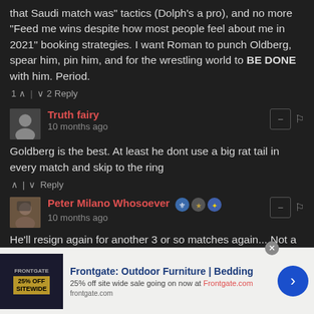that Saudi match was" tactics (Dolph's a pro), and no more "Feed me wins despite how most people feel about me in 2021" booking strategies. I want Roman to punch Oldberg, spear him, pin him, and for the wrestling world to BE DONE with him. Period.
1 ↑ | ↓ 2 Reply
Truth fairy
10 months ago
Goldberg is the best. At least he dont use a big rat tail in every match and skip to the ring
↑ | ↓ Reply
Peter Milano Whosoever
10 months ago
He'll resign again for another 3 or so matches again... Not a
[Figure (infographic): Advertisement banner for Frontgate: Outdoor Furniture | Bedding with '25% off site wide sale going on now at Frontgate.com' text and a blue arrow button on the right]